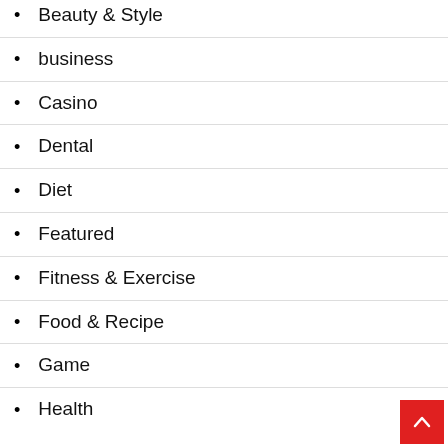Beauty & Style
business
Casino
Dental
Diet
Featured
Fitness & Exercise
Food & Recipe
Game
Health